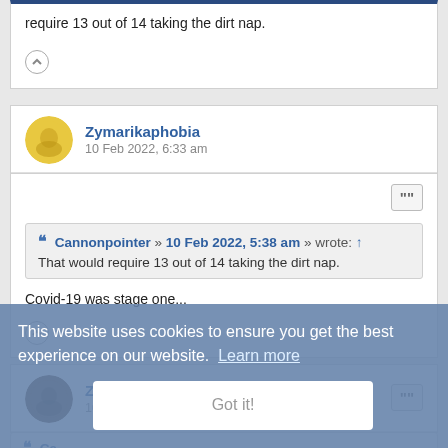require 13 out of 14 taking the dirt nap.
Zymarikaphobia
10 Feb 2022, 6:33 am
Cannonpointer » 10 Feb 2022, 5:38 am » wrote: ↑
That would require 13 out of 14 taking the dirt nap.
Covid-19 was stage one...
This website uses cookies to ensure you get the best experience on our website. Learn more
Zaro's Dad
10 Feb 2022, 6:59 am
Got it!